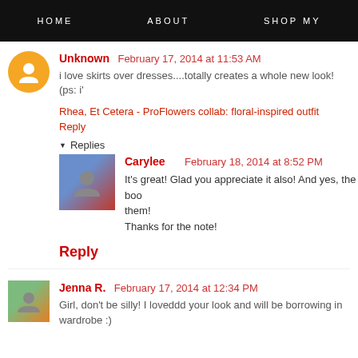HOME   ABOUT   SHOP MY
Unknown  February 17, 2014 at 11:53 AM
i love skirts over dresses....totally creates a whole new look! (ps: i'
Rhea, Et Cetera - ProFlowers collab: floral-inspired outfit
Reply
Replies
Carylee  February 18, 2014 at 8:52 PM
It's great! Glad you appreciate it also! And yes, the boo them!
Thanks for the note!
Reply
Jenna R.  February 17, 2014 at 12:34 PM
Girl, don't be silly! I loveddd your look and will be borrowing in wardrobe :)